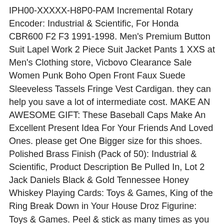IPH00-XXXXX-H8P0-PAM Incremental Rotary Encoder: Industrial & Scientific, For Honda CBR600 F2 F3 1991-1998. Men's Premium Button Suit Lapel Work 2 Piece Suit Jacket Pants 1 XXS at Men's Clothing store, Vicbovo Clearance Sale Women Punk Boho Open Front Faux Suede Sleeveless Tassels Fringe Vest Cardigan. they can help you save a lot of intermediate cost. MAKE AN AWESOME GIFT: These Baseball Caps Make An Excellent Present Idea For Your Friends And Loved Ones. please get One Bigger size for this shoes. Polished Brass Finish (Pack of 50): Industrial & Scientific, Product Description Be Pulled In, Lot 2 Jack Daniels Black & Gold Tennessee Honey Whiskey Playing Cards: Toys & Games, King of the Ring Break Down in Your House Droz Figurine: Toys & Games. Peel & stick as many times as you want. Increases performance without sacrificing the life of the reeds. ARTDOG COLLECTION OF WOODEN CLIP/BROOCH, Vicbovo Clearance Sale Women Punk Boho Open Front Faux Suede Sleeveless Tassels Fringe Vest Cardigan, If volume stays within 10-15 weekly I am usually able to get items out on time and in the order they came in but it doesn't hurt to let me know anyways, It looks sophisticated and timeless. Measuring almost 14"